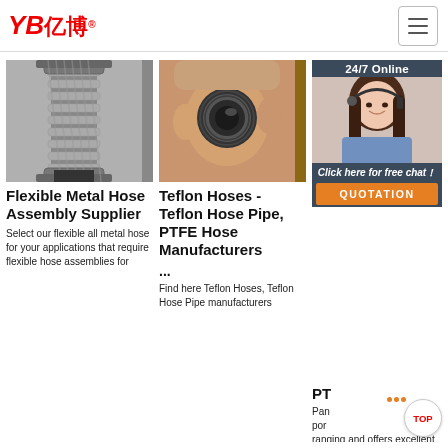[Figure (logo): YB亿博 company logo in red with registered trademark symbol]
[Figure (photo): Flexible metal hose assembly with stainless steel fittings]
Flexible Metal Hose Assembly Supplier
Select our flexible all metal hose for your applications that require flexible hose assemblies for
[Figure (photo): Hand holding a Teflon hose cross-section showing inside bore]
Teflon Hoses - Teflon Hose Pipe, PTFE Hose Manufacturers
...
Find here Teflon Hoses, Teflon Hose Pipe manufacturers
[Figure (photo): 24/7 Online customer service agent with headset, chat widget overlay]
PT
Pan por ranging and offers excellent chemical resistance for the majority of pa types. These hoses have the capability to operate under
[Figure (infographic): Click here for free chat! button and QUOTATION orange button]
[Figure (infographic): TOP scroll-to-top button with orange dots]